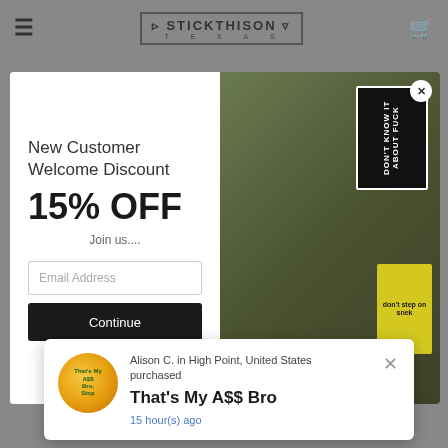STICKTHISON TEXAS — navigation bar with hamburger menu and cart icon
[Figure (screenshot): Stickthison Texas logo in the center of the navigation bar]
New Customer Welcome Discount
15% OFF
Join us....
Email Address
Continue
[Figure (photo): Tactical/military patches on camouflage background including black text patch and yellow snake patch]
Alison C. in High Point, United States purchased
That's My A$$ Bro
15 hour(s) ago